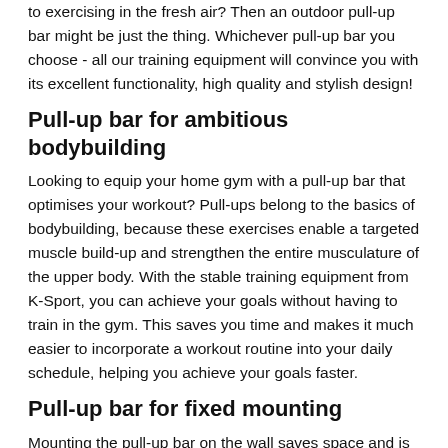to exercising in the fresh air? Then an outdoor pull-up bar might be just the thing. Whichever pull-up bar you choose - all our training equipment will convince you with its excellent functionality, high quality and stylish design!
Pull-up bar for ambitious bodybuilding
Looking to equip your home gym with a pull-up bar that optimises your workout? Pull-ups belong to the basics of bodybuilding, because these exercises enable a targeted muscle build-up and strengthen the entire musculature of the upper body. With the stable training equipment from K-Sport, you can achieve your goals without having to train in the gym. This saves you time and makes it much easier to incorporate a workout routine into your daily schedule, helping you achieve your goals faster.
Pull-up bar for fixed mounting
Mounting the pull-up bar on the wall saves space and is possible in almost every room. The same applies to a pull-up bar on the ceiling. These smart training devices are compact yet still offer you unlimited training possibilities. A mounting